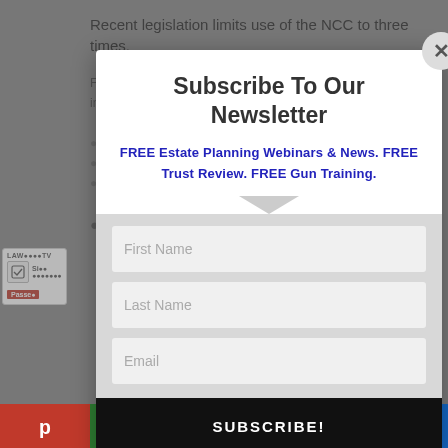Recent legislation limits use of the NCC to three times.
[Figure (screenshot): Background webpage content partially visible behind modal overlay, showing article text and UI elements including a security badge with 'Passed' label and a share bar at the bottom with social media icons (Parler, MeWe, Gab, MerrittWeather, Info, Telegram).]
Subscribe To Our Newsletter
FREE Estate Planning Webinars & News. FREE Trust Review. FREE Gun Training.
First Name
Last Name
Email
SUBSCRIBE!